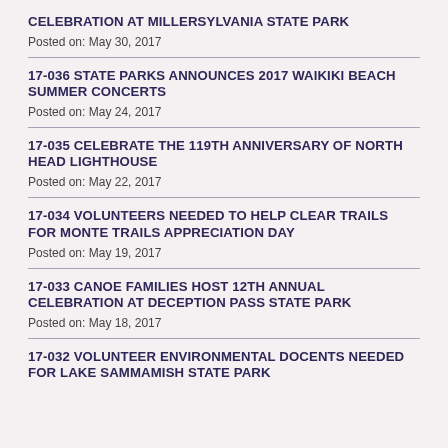CELEBRATION AT MILLERSYLVANIA STATE PARK
Posted on: May 30, 2017
17-036 STATE PARKS ANNOUNCES 2017 WAIKIKI BEACH SUMMER CONCERTS
Posted on: May 24, 2017
17-035 CELEBRATE THE 119TH ANNIVERSARY OF NORTH HEAD LIGHTHOUSE
Posted on: May 22, 2017
17-034 VOLUNTEERS NEEDED TO HELP CLEAR TRAILS FOR MONTE TRAILS APPRECIATION DAY
Posted on: May 19, 2017
17-033 CANOE FAMILIES HOST 12TH ANNUAL CELEBRATION AT DECEPTION PASS STATE PARK
Posted on: May 18, 2017
17-032 VOLUNTEER ENVIRONMENTAL DOCENTS NEEDED FOR LAKE SAMMAMISH STATE PARK